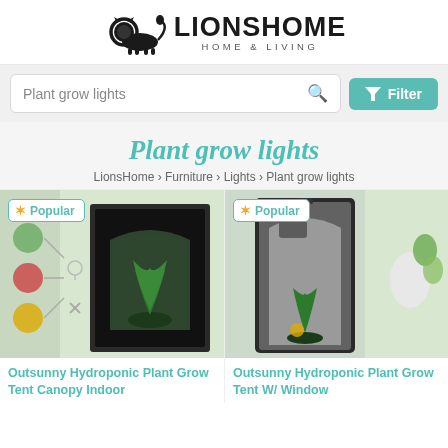[Figure (logo): LionsHome Home & Living logo with lion illustration]
Plant grow lights
Filter
Plant grow lights
LionsHome › Furniture › Lights › Plant grow lights
[Figure (photo): Outsunny Hydroponic Plant Grow Tent Canopy Indoor product image with Popular badge]
[Figure (photo): Outsunny Hydroponic Plant Grow Tent W/ Window product image with Popular badge]
Outsunny Hydroponic Plant Grow Tent Canopy Indoor
Outsunny Hydroponic Plant Grow Tent W/ Window